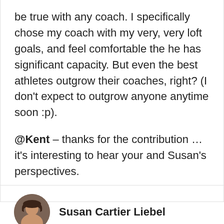be true with any coach. I specifically chose my coach with my very, very loft goals, and feel comfortable the he has significant capacity. But even the best athletes outgrow their coaches, right? (I don't expect to outgrow anyone anytime soon :p).

@Kent – thanks for the contribution … it's interesting to hear your and Susan's perspectives.
Susan Cartier Liebel